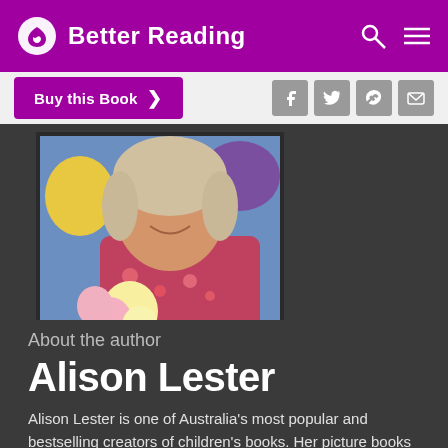Better Reading
Buy this Book
[Figure (photo): Photo of Alison Lester, a smiling woman with light hair holding yellow and pink roses, wearing a floral pink top, with colorful artwork visible in the background.]
About the author
Alison Lester
Alison Lester is one of Australia's most popular and bestselling creators of children's books. Her picture books